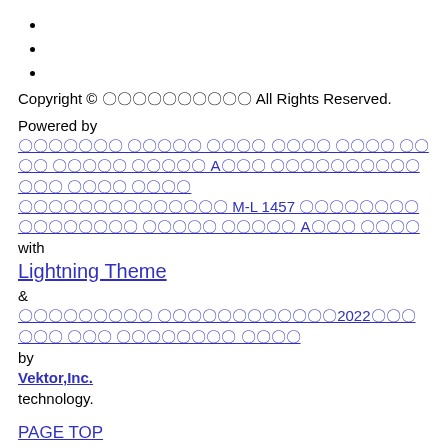Copyright © 〇〇〇〇〇〇〇〇〇〇 All Rights Reserved.
Powered by
〇〇〇〇〇〇〇 〇〇〇〇〇 〇〇〇〇 〇〇〇〇 〇〇〇〇 〇〇〇〇 〇〇〇〇〇 〇〇〇〇〇 A〇〇〇 〇〇〇〇〇〇〇〇〇〇〇〇〇 〇〇〇〇 〇〇〇〇〇〇〇〇〇〇〇〇〇〇 M-L 1457 〇〇〇〇〇〇〇〇 〇〇〇〇〇〇〇〇 〇〇〇〇〇 〇〇〇〇〇 A〇〇〇 〇〇〇〇
with
Lightning Theme
&
〇〇〇〇〇〇〇〇〇 〇〇〇〇〇〇〇〇〇〇〇〇2022〇〇〇〇〇〇 〇〇〇 〇〇〇〇〇〇〇〇 〇〇〇〇
by
Vektor,Inc.
technology.
PAGE TOP
MENU
〇〇〇
〇〇〇〇〇〇〇
〇〇〇〇〇〇
〇〇〇〇〇〇〇〇〇〇　Short-Term Stay